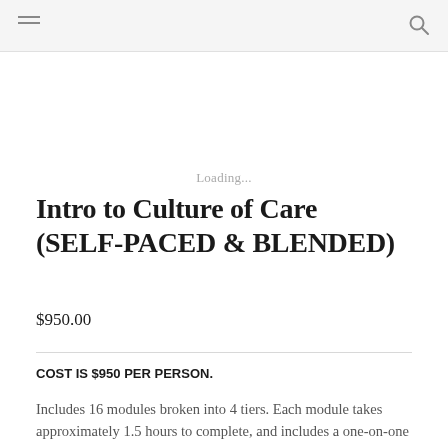Loading...
Intro to Culture of Care (SELF-PACED & BLENDED)
$950.00
COST IS $950 PER PERSON.
Includes 16 modules broken into 4 tiers. Each module takes approximately 1.5 hours to complete, and includes a one-on-one session with an RJEd Facilitator. Upon completion, participants become Certified Specialists and can opt for 2 Master's credits at Colorado State University.